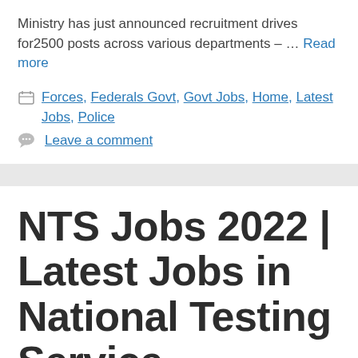Ministry has just announced recruitment drives for2500 posts across various departments – … Read more
Categories: Forces, Federals Govt, Govt Jobs, Home, Latest Jobs, Police
Leave a comment
NTS Jobs 2022 | Latest Jobs in National Testing Service